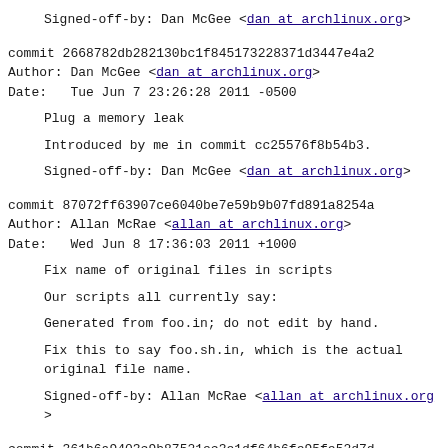Signed-off-by: Dan McGee <dan at archlinux.org>
commit 2668782db282130bc1f845173228371d3447e4a2
Author: Dan McGee <dan at archlinux.org>
Date:   Tue Jun 7 23:26:28 2011 -0500
Plug a memory leak
Introduced by me in commit cc25576f8b54b3.
Signed-off-by: Dan McGee <dan at archlinux.org>
commit 87072ff63907ce6040be7e59b9b07fd891a8254a
Author: Allan McRae <allan at archlinux.org>
Date:   Wed Jun 8 17:36:03 2011 +1000
Fix name of original files in scripts
Our scripts all currently say:
Generated from foo.in; do not edit by hand.
Fix this to say foo.sh.in, which is the actual
original file name.
Signed-off-by: Allan McRae <allan at archlinux.org>
commit 361b6a9403c9b87521ec3e1df64b6fe95fe52d7d
Author: Allan McRae <allan at archlinux.org>